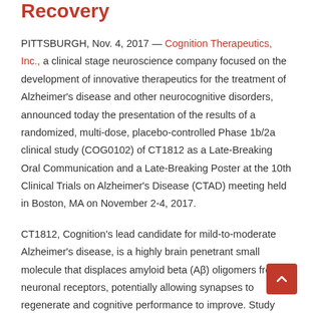Recovery
PITTSBURGH, Nov. 4, 2017 — Cognition Therapeutics, Inc., a clinical stage neuroscience company focused on the development of innovative therapeutics for the treatment of Alzheimer's disease and other neurocognitive disorders, announced today the presentation of the results of a randomized, multi-dose, placebo-controlled Phase 1b/2a clinical study (COG0102) of CT1812 as a Late-Breaking Oral Communication and a Late-Breaking Poster at the 10th Clinical Trials on Alzheimer's Disease (CTAD) meeting held in Boston, MA on November 2-4, 2017.
CT1812, Cognition's lead candidate for mild-to-moderate Alzheimer's disease, is a highly brain penetrant small molecule that displaces amyloid beta (Aβ) oligomers from neuronal receptors, potentially allowing synapses to regenerate and cognitive performance to improve. Study